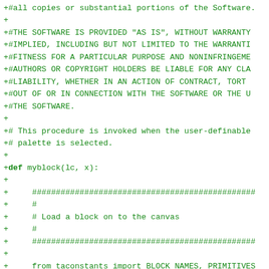+#all copies or substantial portions of the Software.
+
+#THE SOFTWARE IS PROVIDED "AS IS", WITHOUT WARRANTY
+#IMPLIED, INCLUDING BUT NOT LIMITED TO THE WARRANTI
+#FITNESS FOR A PARTICULAR PURPOSE AND NONINFRINGEME
+#AUTHORS OR COPYRIGHT HOLDERS BE LIABLE FOR ANY CLA
+#LIABILITY, WHETHER IN AN ACTION OF CONTRACT, TORT
+#OUT OF OR IN CONNECTION WITH THE SOFTWARE OR THE U
+#THE SOFTWARE.
+
+# This procedure is invoked when the user-definable
+# palette is selected.
+
+def myblock(lc, x):
+
+     ###############################################
+     #
+     # Load a block on to the canvas
+     #
+     ###############################################
+
+     from taconstants import BLOCK_NAMES, PRIMITIVES
+
+     tx, ty = lc.tw.active_turtle.get_xy()
+     for name in BLOCK_NAMES:
+         if x == BLOCK_NAMES[name][0] and PRIMITIVES
+             lc.tw._new_block(name, tx + 20, ty + 20
+             return